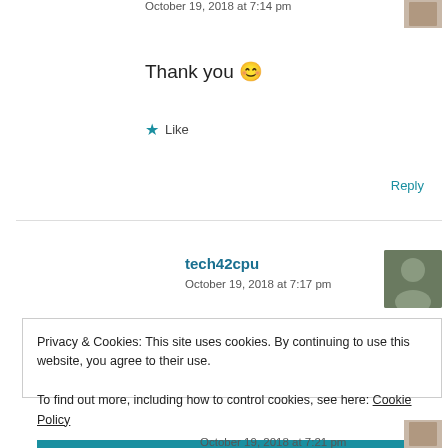October 19, 2018 at 7:14 pm
Thank you 😊
★ Like
Reply
tech42cpu
October 19, 2018 at 7:17 pm
Privacy & Cookies: This site uses cookies. By continuing to use this website, you agree to their use.
To find out more, including how to control cookies, see here: Cookie Policy
Close and accept
October 19, 2018 at 7:21 pm